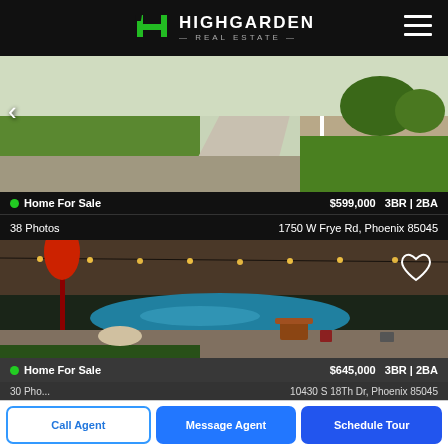[Figure (logo): Highgarden Real Estate logo with green H emblem on black header bar]
[Figure (photo): Aerial/street view of a house driveway with green lawn and concrete, Phoenix AZ]
Home For Sale   $599,000  3BR | 2BA
38 Photos   1750 W Frye Rd, Phoenix 85045
[Figure (photo): Backyard pool area with string lights, outdoor furniture, grass, and landscaping at dusk]
Home For Sale   $645,000  3BR | 2BA
30 Photos   10430 S 18Th Dr, Phoenix 85045
Call Agent
Message Agent
Schedule Tour